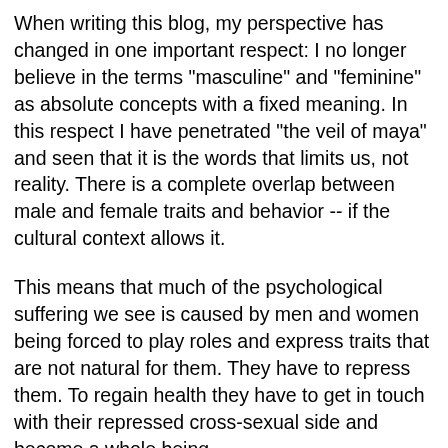When writing this blog, my perspective has changed in one important respect: I no longer believe in the terms "masculine" and "feminine" as absolute concepts with a fixed meaning. In this respect I have penetrated "the veil of maya" and seen that it is the words that limits us, not reality. There is a complete overlap between male and female traits and behavior -- if the cultural context allows it.
This means that much of the psychological suffering we see is caused by men and women being forced to play roles and express traits that are not natural for them. They have to repress them. To regain health they have to get in touch with their repressed cross-sexual side and become a whole being.
In alchemy this is symbolized by the marriage between the king and the queen, in taoism in the yin and yang symbol, in Tibetan Buddhism in the mandalas, in the Jewish Kabbalah in the two sides of the Sephorit tree and the Seal of Solomon, and in many myths: the primordial divine hermaphrodite and so on. This is of course Carl Jung's point when he talks about the cross-sexual side of the collective